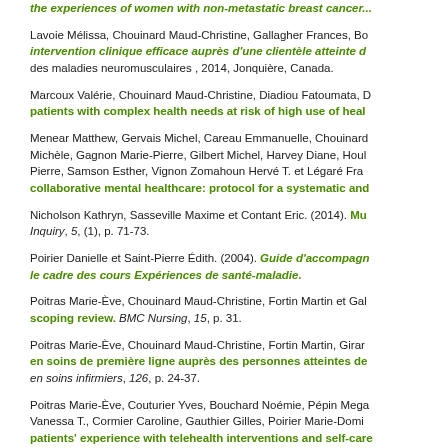the experiences of women with non-metastatic breast cancer...
Lavoie Mélissa, Chouinard Maud-Christine, Gallagher Frances, Bo... intervention clinique efficace auprès d'une clientèle atteinte d... des maladies neuromusculaires , 2014, Jonquière, Canada.
Marcoux Valérie, Chouinard Maud-Christine, Diadiou Fatoumata, D... patients with complex health needs at risk of high use of heal...
Menear Matthew, Gervais Michel, Careau Emmanuelle, Chouinard... Michèle, Gagnon Marie-Pierre, Gilbert Michel, Harvey Diane, Houl... Pierre, Samson Esther, Vignon Zomahoun Hervé T. et Légaré Fra... collaborative mental healthcare: protocol for a systematic and...
Nicholson Kathryn, Sasseville Maxime et Contant Eric. (2014). Mu... Inquiry, 5, (1), p. 71-73.
Poirier Danielle et Saint-Pierre Édith. (2004). Guide d'accompagn... le cadre des cours Expériences de santé-maladie.
Poitras Marie-Ève, Chouinard Maud-Christine, Fortin Martin et Gal... scoping review. BMC Nursing, 15, p. 31.
Poitras Marie-Ève, Chouinard Maud-Christine, Fortin Martin, Girar... en soins de première ligne auprès des personnes atteintes de... en soins infirmiers, 126, p. 24-37.
Poitras Marie-Ève, Couturier Yves, Bouchard Noémie, Pépin Mega... Vanessa T., Cormier Caroline, Gauthier Gilles, Poirier Marie-Domi... patients' experience with telehealth interventions and self-care...